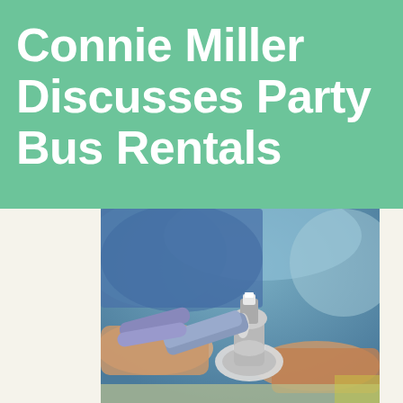Connie Miller Discusses Party Bus Rentals
[Figure (photo): Close-up photo of a person's hands using pliers/wrench on a chrome faucet fitting. Person is wearing a blue shirt. The background is blurred showing a workshop or plumbing environment.]